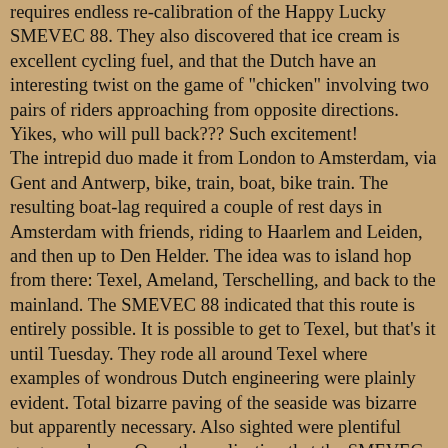requires endless re-calibration of the Happy Lucky SMEVEC 88. They also discovered that ice cream is excellent cycling fuel, and that the Dutch have an interesting twist on the game of "chicken" involving two pairs of riders approaching from opposite directions. Yikes, who will pull back??? Such excitement! The intrepid duo made it from London to Amsterdam, via Gent and Antwerp, bike, train, boat, bike train. The resulting boat-lag required a couple of rest days in Amsterdam with friends, riding to Haarlem and Leiden, and then up to Den Helder. The idea was to island hop from there: Texel, Ameland, Terschelling, and back to the mainland. The SMEVEC 88 indicated that this route is entirely possible. It is possible to get to Texel, but that's it until Tuesday. They rode all around Texel where examples of wondrous Dutch engineering were plainly evident. Total bizarre paving of the seaside was bizarre but apparently necessary. Also sighted were plentiful gorgeous dunes. Once the realization that the SMEVEC 88 had led them down a garden path, they cycled back down the coast of North Holland the next day. There were gorgeous dunes (again) with endless brick cycle paths, and beautiful woods with crushed shell trails. The woods were welcome as it was around 30 degrees and the wind was against them. (No doubt they probably rued their decision to leave the Prosperous Contented Obstruction